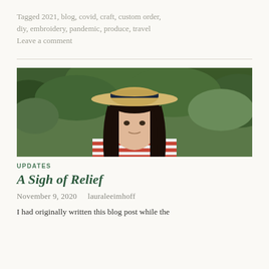Tagged 2021, blog, covid, craft, custom order, diy, embroidery, pandemic, produce, travel
Leave a comment
[Figure (photo): A young woman with long dark hair wearing a wide-brimmed straw hat and a red and white striped shirt, smiling outdoors with green foliage in the background.]
UPDATES
A Sigh of Relief
November 9, 2020   lauraleeimhoff
I had originally written this blog post while the